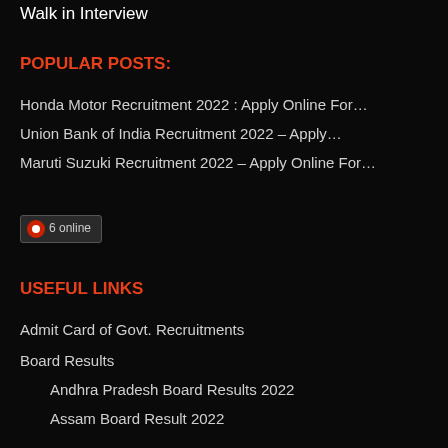Walk in Interview
POPULAR POSTS:
Honda Motor Recruitment 2022 : Apply Online For…
Union Bank of India Recruitment 2022 – Apply…
Maruti Suzuki Recruitment 2022 – Apply Online For…
[Figure (infographic): Online visitor counter widget showing 6 online users with a red icon]
USEFUL LINKS
Admit Card of Govt. Recruitments
Board Results
Andhra Pradesh Board Results 2022
Assam Board Result 2022